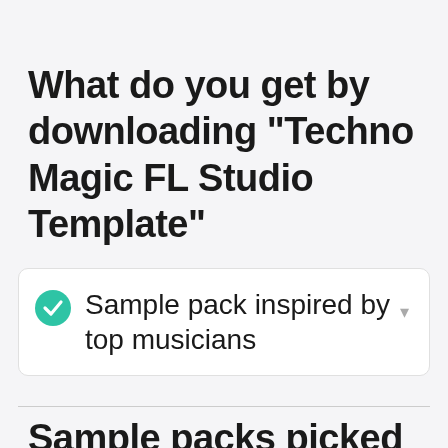What do you get by downloading "Techno Magic FL Studio Template"
Sample pack inspired by top musicians
Sample packs picked for yo